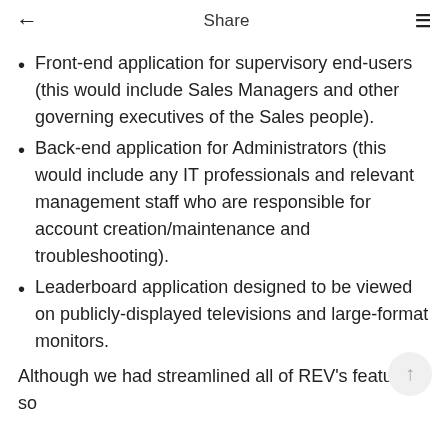← Share ≡
Front-end application for supervisory end-users (this would include Sales Managers and other governing executives of the Sales people).
Back-end application for Administrators (this would include any IT professionals and relevant management staff who are responsible for account creation/maintenance and troubleshooting).
Leaderboard application designed to be viewed on publicly-displayed televisions and large-format monitors.
Although we had streamlined all of REV's features so